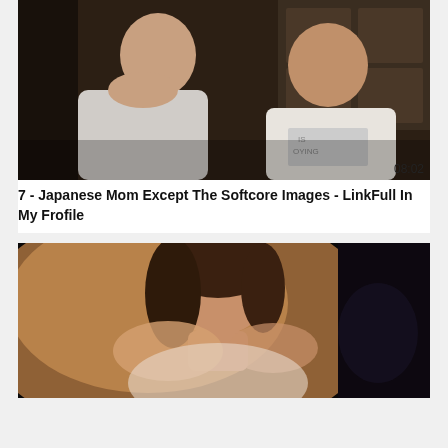[Figure (photo): Video thumbnail showing two Asian women in a room, one leaning forward in a white t-shirt, the other also in a white t-shirt with graphic print. Duration overlay shows 08:02.]
7 - Japanese Mom Except The Softcore Images - LinkFull In My Frofile
[Figure (photo): Video thumbnail showing a woman with wavy hair and bare shoulders in warm lighting against a dark background.]